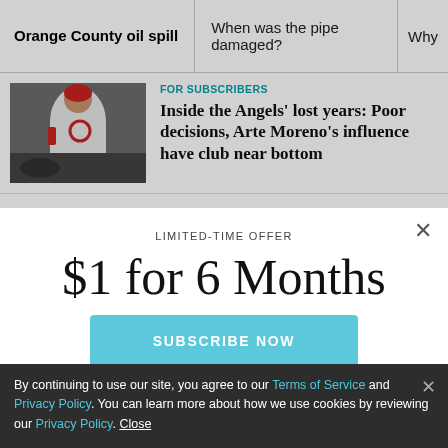Orange County oil spill | When was the pipe damaged? | Why
FOR SUBSCRIBERS
Inside the Angels’ lost years: Poor decisions, Arte Moreno’s influence have club near bottom
[Figure (photo): Baseball player in white Angels uniform crouching or leaning]
Around the Web
LIMITED-TIME OFFER
$1 for 6 Months
SUBSCRIBE NOW
By continuing to use our site, you agree to our Terms of Service and Privacy Policy. You can learn more about how we use cookies by reviewing our Privacy Policy. Close